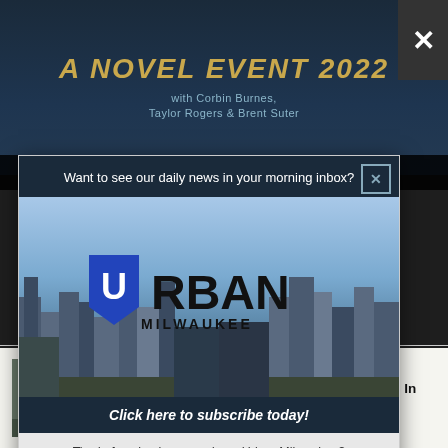[Figure (screenshot): Top banner ad for A Novel Event 2022 with Corbin Burnes, Taylor Rogers and Brent Suter, dark blue background with gold italic title text]
This ad will close automatically in 15 seconds.
[Figure (screenshot): Urban Milwaukee newsletter signup modal popup with city skyline photo and Urban Milwaukee logo overlay, dark header asking 'Want to see our daily news in your morning inbox?', and subscribe button]
Want to see our daily news in your morning inbox?
Click here to subscribe today!
Tired of seeing banner ads on Urban Milwaukee?
Become a member for $9/month.
UW Campuses Help Students Who Were In Foster Care by John Davis